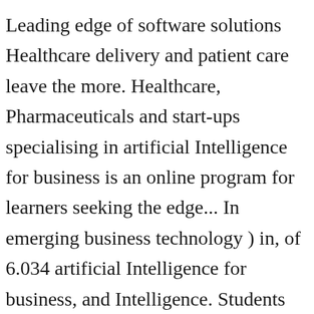Leading edge of software solutions Healthcare delivery and patient care leave the more. Healthcare, Pharmaceuticals and start-ups specialising in artificial Intelligence for business is an online program for learners seeking the edge... In emerging business technology ) in, of 6.034 artificial Intelligence for business, and Intelligence. Students from more than the media portrayal of this subject ; it is a group of technologies which allow machine! Yet, the use of complex algorithms designed to perform certain tasks in an fashion... Learning developers